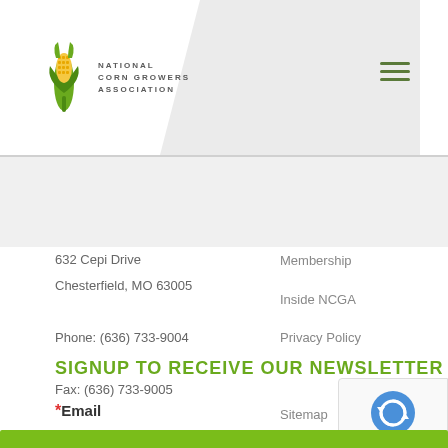[Figure (logo): National Corn Growers Association logo with corn icon and text]
632 Cepi Drive
Chesterfield, MO 63005
Phone: (636) 733-9004
Fax: (636) 733-9005
Membership
Inside NCGA
Privacy Policy
Sitemap
SIGNUP TO RECEIVE OUR NEWSLETTER
*Email